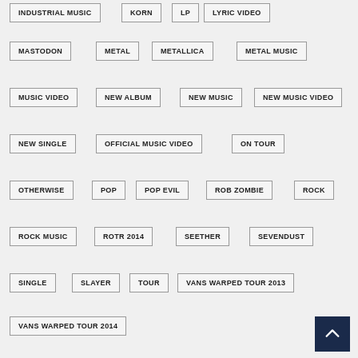INDUSTRIAL MUSIC
KORN
LP
LYRIC VIDEO
MASTODON
METAL
METALLICA
METAL MUSIC
MUSIC VIDEO
NEW ALBUM
NEW MUSIC
NEW MUSIC VIDEO
NEW SINGLE
OFFICIAL MUSIC VIDEO
ON TOUR
OTHERWISE
POP
POP EVIL
ROB ZOMBIE
ROCK
ROCK MUSIC
ROTR 2014
SEETHER
SEVENDUST
SINGLE
SLAYER
TOUR
VANS WARPED TOUR 2013
VANS WARPED TOUR 2014